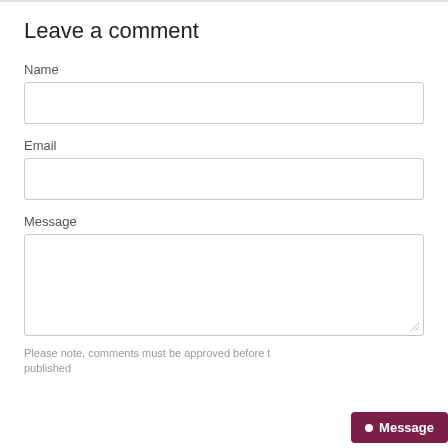Leave a comment
Name
Email
Message
Please note, comments must be approved before they are published